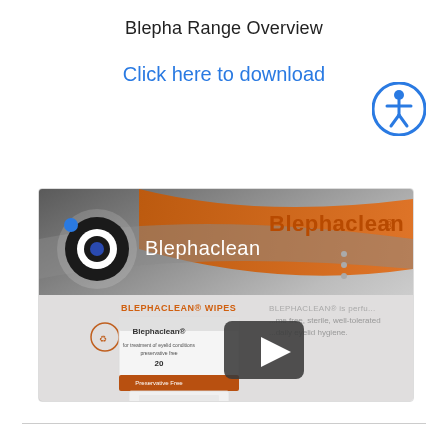Blepha Range Overview
Click here to download
[Figure (screenshot): Blephaclean product video thumbnail showing the Blephaclean brand header with orange swoosh design, Blephaclean logo, Blephaclean Wipes product box, and a play button overlay]
[Figure (illustration): Blue circular accessibility icon (wheelchair person symbol) in the top right area]